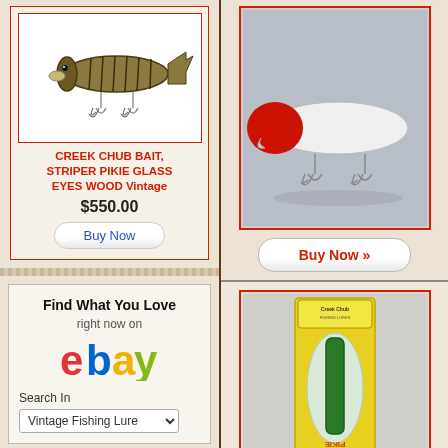[Figure (photo): Vintage Creek Chub Bait Striper Pikie fishing lure with glass eyes, striped pattern, multiple treble hooks]
CREEK CHUB BAIT, STRIPER PIKIE GLASS EYES WOOD Vintage
$550.00
Buy Now
Find What You Love right now on ebay
Search In
Vintage Fishing Lure
[Figure (photo): Vintage white and red fishing lure (Creek Chub style) on gray background]
Buy Now »
[Figure (photo): Creek Chub Pikie fishing lure in original blister packaging, green/blue lure in yellow card packaging]